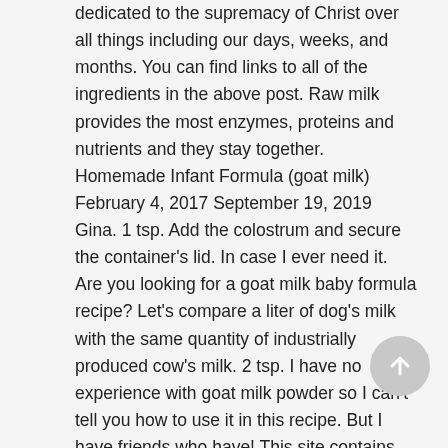dedicated to the supremacy of Christ over all things including our days, weeks, and months. You can find links to all of the ingredients in the above post. Raw milk provides the most enzymes, proteins and nutrients and they stay together. Homemade Infant Formula (goat milk) February 4, 2017 September 19, 2019 Gina. 1 tsp. Add the colostrum and secure the container's lid. In case I ever need it. Are you looking for a goat milk baby formula recipe? Let's compare a liter of dog's milk with the same quantity of industrially produced cow's milk. 2 tsp. I have no experience with goat milk powder so I can't tell you how to use it in this recipe. But I have friends who have! This site contains